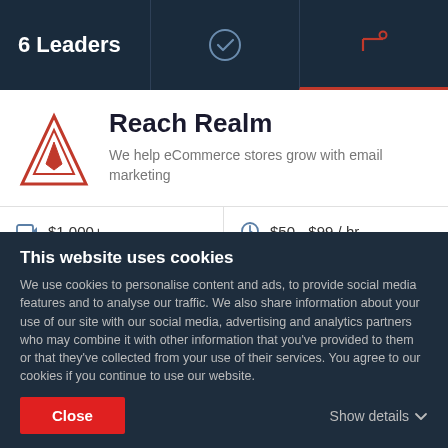6 Leaders
Reach Realm
We help eCommerce stores grow with email marketing
| Icon | Value | Icon | Value |
| --- | --- | --- | --- |
| $1,000+ | $50 - $99 / hr |
| 2 - 9 | Šmartno v Rožni Dolini, Slovenia |
Ability to deliver    18.8
This website uses cookies
We use cookies to personalise content and ads, to provide social media features and to analyse our traffic. We also share information about your use of our site with our social media, advertising and analytics partners who may combine it with other information that you've provided to them or that they've collected from your use of their services. You agree to our cookies if you continue to use our website.
Close    Show details